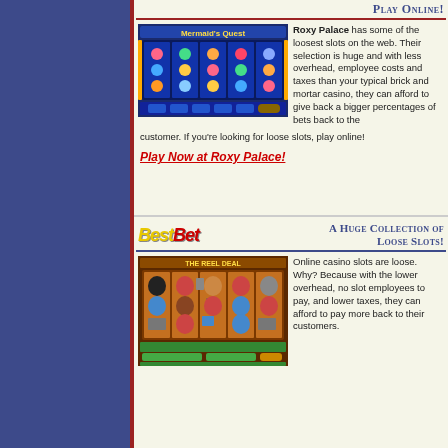Play Online!
[Figure (screenshot): Roxy Palace online slot machine game screenshot showing Mermaid's Quest slots]
Roxy Palace has some of the loosest slots on the web. Their selection is huge and with less overhead, employee costs and taxes than your typical brick and mortar casino, they can afford to give back a bigger percentages of bets back to the customer. If you're looking for loose slots, play online!
Play Now at Roxy Palace!
A Huge Collection of Loose Slots!
[Figure (screenshot): BestBet online casino slot machine screenshot showing The Reel Deal slots]
Online casino slots are loose. Why? Because with the lower overhead, no slot employees to pay, and lower taxes, they can afford to pay more back to their customers.